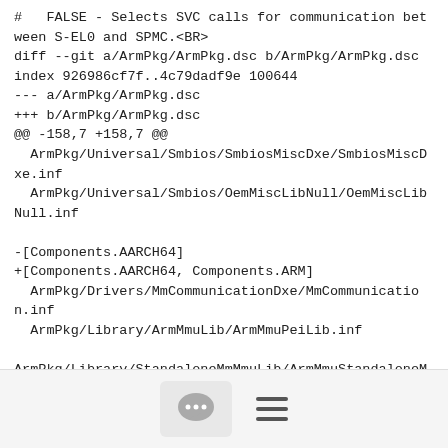#   FALSE - Selects SVC calls for communication between S-EL0 and SPMC.<BR>
diff --git a/ArmPkg/ArmPkg.dsc b/ArmPkg/ArmPkg.dsc
index 926986cf7f..4c79dadf9e 100644
--- a/ArmPkg/ArmPkg.dsc
+++ b/ArmPkg/ArmPkg.dsc
@@ -158,7 +158,7 @@
   ArmPkg/Universal/Smbios/SmbiosMiscDxe/SmbiosMiscDxe.inf
   ArmPkg/Universal/Smbios/OemMiscLibNull/OemMiscLibNull.inf

-[Components.AARCH64]
+[Components.AARCH64, Components.ARM]
   ArmPkg/Drivers/MmCommunicationDxe/MmCommunication.inf
   ArmPkg/Library/ArmMmuLib/ArmMmuPeiLib.inf

ArmPkg/Library/StandaloneMmMmuLib/ArmMmuStandaloneMmLib.inf
diff --git
a/ArmPkg/Drivers/MmCommunicationDxe/MmCommunication.c
[Figure (other): Footer bar with a chat bubble icon button and a hamburger menu icon]